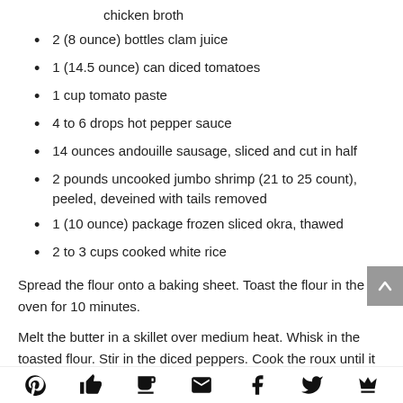chicken broth
2 (8 ounce) bottles clam juice
1 (14.5 ounce) can diced tomatoes
1 cup tomato paste
4 to 6 drops hot pepper sauce
14 ounces andouille sausage, sliced and cut in half
2 pounds uncooked jumbo shrimp (21 to 25 count), peeled, deveined with tails removed
1 (10 ounce) package frozen sliced okra, thawed
2 to 3 cups cooked white rice
Spread the flour onto a baking sheet. Toast the flour in the oven for 10 minutes.
Melt the butter in a skillet over medium heat. Whisk in the toasted flour. Stir in the diced peppers. Cook the roux until it is amber brown, about 10 to 15 minutes.
[social sharing icons: Pinterest, like, recipe box, email, Facebook, Twitter, crown]